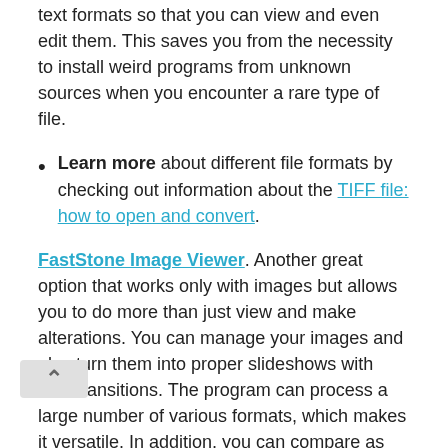text formats so that you can view and even edit them. This saves you from the necessity to install weird programs from unknown sources when you encounter a rare type of file.
Learn more about different file formats by checking out information about the TIFF file: how to open and convert.
FastStone Image Viewer. Another great option that works only with images but allows you to do more than just view and make alterations. You can manage your images and also turn them into proper slideshows with nice transitions. The program can process a large number of various formats, which makes it versatile. In addition, you can compare as many as 4 pictures at once and significantly speed up certain processes. Since this software is in free access, you save some money by using it. But don't